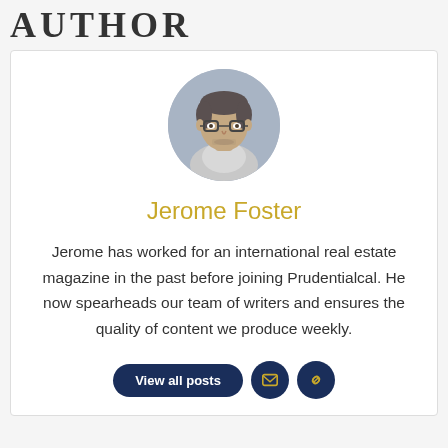AUTHOR
[Figure (photo): Circular headshot of Jerome Foster, a middle-aged man with glasses and stubble, wearing a light shirt, photographed against a gray background.]
Jerome Foster
Jerome has worked for an international real estate magazine in the past before joining Prudentialcal. He now spearheads our team of writers and ensures the quality of content we produce weekly.
[Figure (infographic): Row of buttons: a dark navy rounded pill button labeled 'View all posts', and two dark navy circular icon buttons — one with an envelope icon and one with a link/chain icon.]